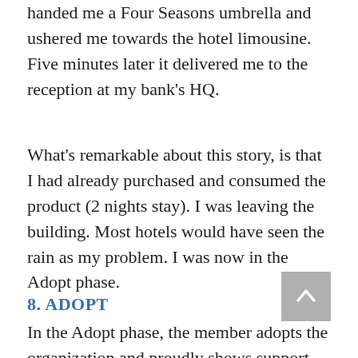handed me a Four Seasons umbrella and ushered me towards the hotel limousine. Five minutes later it delivered me to the reception at my bank's HQ.
What's remarkable about this story, is that I had already purchased and consumed the product (2 nights stay). I was leaving the building. Most hotels would have seen the rain as my problem. I was now in the Adopt phase.
8. ADOPT
In the Adopt phase, the member adopts the organization and proudly shows support and affinity for your credit union. Having accomplished the